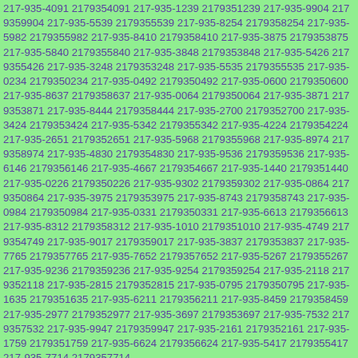217-935-4091 2179354091 217-935-1239 2179351239 217-935-9904 2179359904 217-935-5539 2179355539 217-935-8254 2179358254 217-935-5982 2179355982 217-935-8410 2179358410 217-935-3875 2179353875 217-935-5840 2179355840 217-935-3848 2179353848 217-935-5426 2179355426 217-935-3248 2179353248 217-935-5535 2179355535 217-935-0234 2179350234 217-935-0492 2179350492 217-935-0600 2179350600 217-935-8637 2179358637 217-935-0064 2179350064 217-935-3871 2179353871 217-935-8444 2179358444 217-935-2700 2179352700 217-935-3424 2179353424 217-935-5342 2179355342 217-935-4224 2179354224 217-935-2651 2179352651 217-935-5968 2179355968 217-935-8974 2179358974 217-935-4830 2179354830 217-935-9536 2179359536 217-935-6146 2179356146 217-935-4667 2179354667 217-935-1440 2179351440 217-935-0226 2179350226 217-935-9302 2179359302 217-935-0864 2179350864 217-935-3975 2179353975 217-935-8743 2179358743 217-935-0984 2179350984 217-935-0331 2179350331 217-935-6613 2179356613 217-935-8312 2179358312 217-935-1010 2179351010 217-935-4749 2179354749 217-935-9017 2179359017 217-935-3837 2179353837 217-935-7765 2179357765 217-935-7652 2179357652 217-935-5267 2179355267 217-935-9236 2179359236 217-935-9254 2179359254 217-935-2118 2179352118 217-935-2815 2179352815 217-935-0795 2179350795 217-935-1635 2179351635 217-935-6211 2179356211 217-935-8459 2179358459 217-935-2977 2179352977 217-935-3697 2179353697 217-935-7532 2179357532 217-935-9947 2179359947 217-935-2161 2179352161 217-935-1759 2179351759 217-935-6624 2179356624 217-935-5417 2179355417 217-935-7714 2179357714